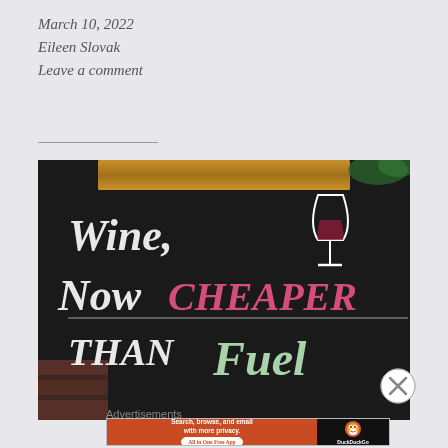March 10, 2022
Eileen Slovak
Leave a comment
[Figure (photo): A chalkboard sign with chalk text reading: Wine, Now Cheaper Than Fuel, with a drawing of a wine glass]
Advertisements
[Figure (screenshot): DuckDuckGo advertisement banner: Search, browse, and email with more privacy. All in One Free App. DuckDuckGo logo on dark background.]